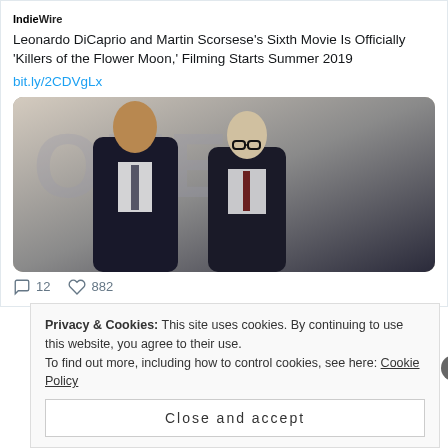IndieWire
Leonardo DiCaprio and Martin Scorsese's Sixth Movie Is Officially 'Killers of the Flower Moon,' Filming Starts Summer 2019
bit.ly/2CDVgLx
[Figure (photo): Photo of two men in suits, likely Leonardo DiCaprio and Martin Scorsese, posing together at an event with a backdrop behind them]
12  882
Privacy & Cookies: This site uses cookies. By continuing to use this website, you agree to their use.
To find out more, including how to control cookies, see here: Cookie Policy
Close and accept